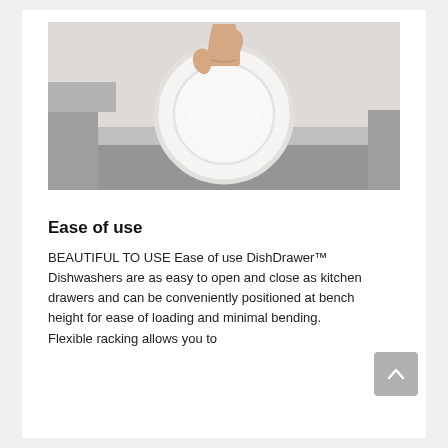[Figure (photo): A hand holding a white plate being placed into or removed from a DishDrawer dishwasher drawer. The drawer is open and shown from above, with gray drawer sides visible at the bottom of the image against a light gray/white background.]
Ease of use
BEAUTIFUL TO USE Ease of use DishDrawer™ Dishwashers are as easy to open and close as kitchen drawers and can be conveniently positioned at bench height for ease of loading and minimal bending. Flexible racking allows you to